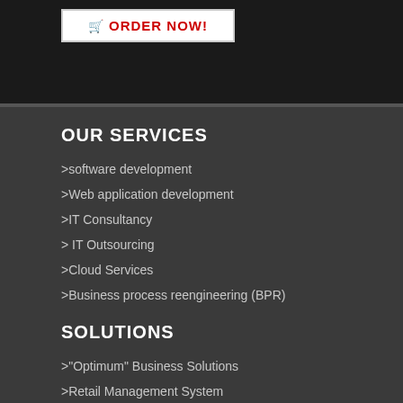[Figure (other): Order Now button with shopping cart icon on dark background]
OUR SERVICES
>software development
>Web application development
>IT Consultancy
> IT Outsourcing
>Cloud Services
>Business process reengineering (BPR)
SOLUTIONS
>"Optimum" Business Solutions
>Retail Management System
>Wholesale Management System